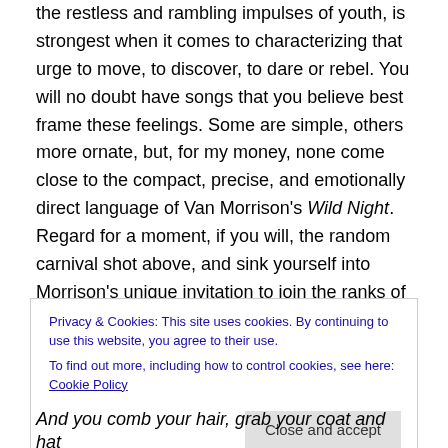the restless and rambling impulses of youth, is strongest when it comes to characterizing that urge to move, to discover, to dare or rebel. You will no doubt have songs that you believe best frame these feelings. Some are simple, others more ornate, but, for my money, none come close to the compact, precise, and emotionally direct language of Van Morrison's Wild Night. Regard for a moment, if you will, the random carnival shot above, and sink yourself into Morrison's unique invitation to join the ranks of a special kind of shadowy wanderer:
Privacy & Cookies: This site uses cookies. By continuing to use this website, you agree to their use.
To find out more, including how to control cookies, see here: Cookie Policy
And you comb your hair, grab your coat and hat